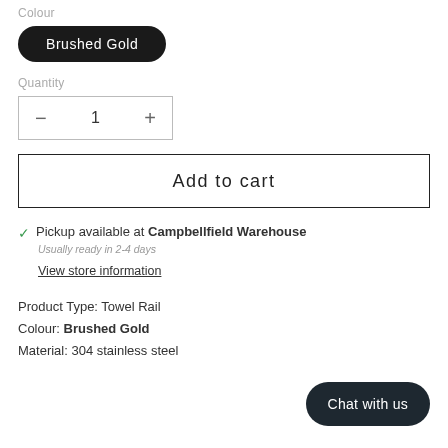Colour
Brushed Gold
Quantity
− 1 +
Add to cart
✓ Pickup available at Campbellfield Warehouse
Usually ready in 2-4 days
View store information
Product Type: Towel Rail
Colour: Brushed Gold
Material: 304 stainless steel
Chat with us